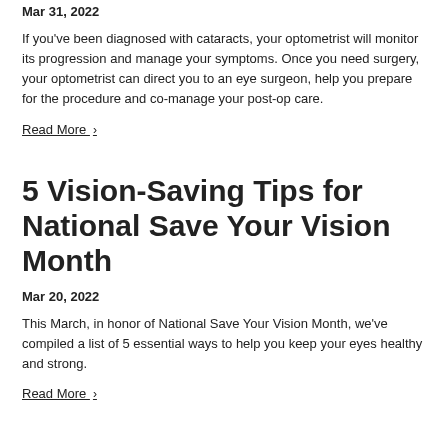Mar 31, 2022
If you've been diagnosed with cataracts, your optometrist will monitor its progression and manage your symptoms. Once you need surgery, your optometrist can direct you to an eye surgeon, help you prepare for the procedure and co-manage your post-op care.
Read More ›
5 Vision-Saving Tips for National Save Your Vision Month
Mar 20, 2022
This March, in honor of National Save Your Vision Month, we've compiled a list of 5 essential ways to help you keep your eyes healthy and strong.
Read More ›